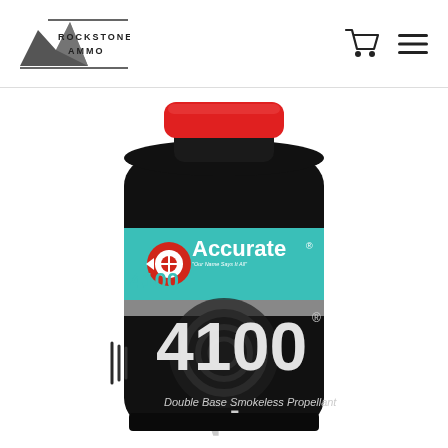[Figure (logo): Rockstone Ammo logo with mountain graphic and two horizontal lines above and below the text]
[Figure (illustration): Shopping cart icon and hamburger menu icon in top right header area]
[Figure (photo): Black plastic bottle of Accurate 4100 Double Base Smokeless Propellant with red cap and teal/turquoise label band showing the Accurate brand logo and product number 4100 with a handgun silhouette icon]